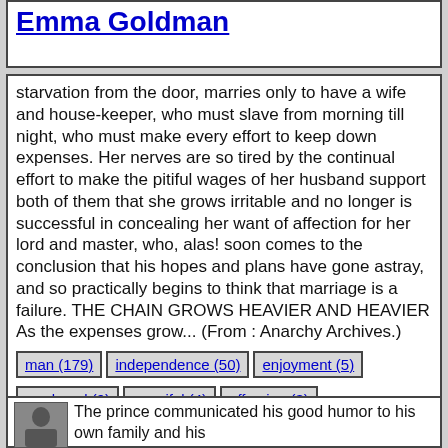Emma Goldman
starvation from the door, marries only to have a wife and house-keeper, who must slave from morning till night, who must make every effort to keep down expenses. Her nerves are so tired by the continual effort to make the pitiful wages of her husband support both of them that she grows irritable and no longer is successful in concealing her want of affection for her lord and master, who, alas! soon comes to the conclusion that his hopes and plans have gone astray, and so practically begins to think that marriage is a failure. THE CHAIN GROWS HEAVIER AND HEAVIER As the expenses grow... (From : Anarchy Archives.)
man (179)
independence (50)
enjoyment (5)
produced (9)
merciful (4)
offspring (3)
right (273)
lord (34)
matrimony (2)
streets (33)
The prince communicated his good humor to his own family and his